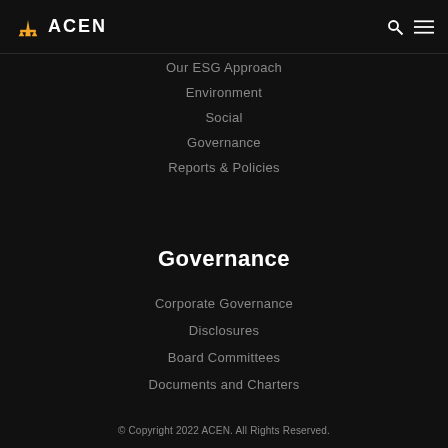ACEN
Our ESG Approach
Environment
Social
Governance
Reports & Policies
Governance
Corporate Governance
Disclosures
Board Committees
Documents and Charters
© Copyright 2022 ACEN. All Rights Reserved.